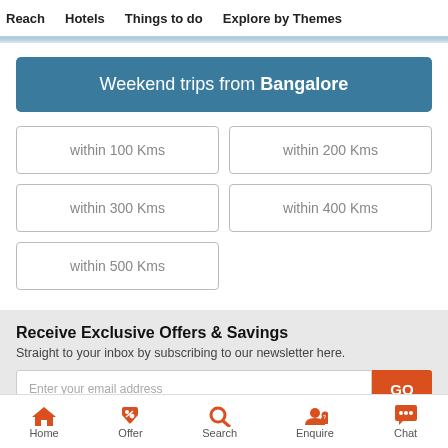Reach  Hotels  Things to do  Explore by Themes
Weekend trips from Bangalore
within 100 Kms
within 200 Kms
within 300 Kms
within 400 Kms
within 500 Kms
Receive Exclusive Offers & Savings
Straight to your inbox by subscribing to our newsletter here.
Enter your email address
Home  Offer  Search  Enquire  Chat